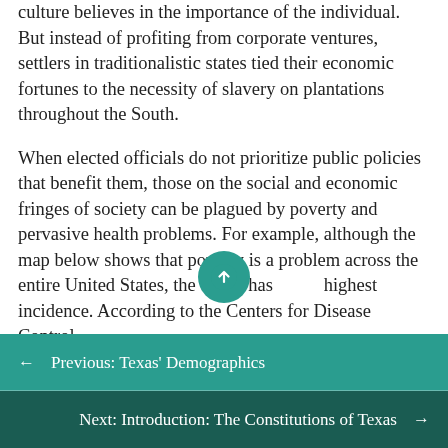culture believes in the importance of the individual. But instead of profiting from corporate ventures, settlers in traditionalistic states tied their economic fortunes to the necessity of slavery on plantations throughout the South.
When elected officials do not prioritize public policies that benefit them, those on the social and economic fringes of society can be plagued by poverty and pervasive health problems. For example, although the map below shows that poverty is a problem across the entire United States, the South has highest incidence. According to the Centers for Disease Control
← Previous: Texas' Demographics
Next: Introduction: The Constitutions of Texas →